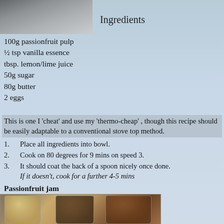[Figure (photo): Top photo strip showing outdoor scene, partially visible]
Ingredients
100g passionfruit pulp
½ tsp vanilla essence
tbsp. lemon/lime juice
50g sugar
80g butter
2 eggs
This is one I 'cheat' and use my 'thermo-cheap' , though this recipe should be easily adaptable to a conventional stove top method.
1.   Place all ingredients into bowl.
2.   Cook on 80 degrees for 9 mins on speed 3.
3.   It should coat the back of a spoon nicely once done.
      If it doesn't, cook for a further 4-5 mins
Passionfruit jam
[Figure (photo): Photo of three jars of passionfruit jam/curd]